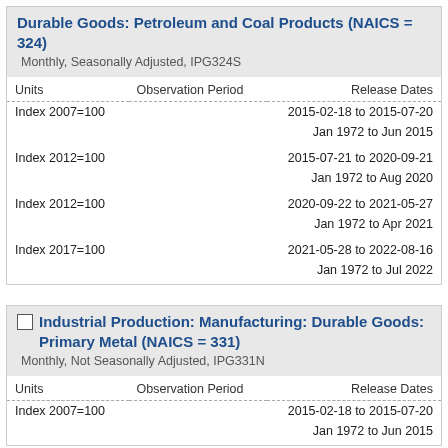Durable Goods: Petroleum and Coal Products (NAICS = 324)
Monthly, Seasonally Adjusted, IPG324S
| Units | Observation Period | Release Dates |
| --- | --- | --- |
| Index 2007=100 |  | 2015-02-18 to 2015-07-20 |
|  |  | Jan 1972 to Jun 2015 |
| Index 2012=100 |  | 2015-07-21 to 2020-09-21 |
|  |  | Jan 1972 to Aug 2020 |
| Index 2012=100 |  | 2020-09-22 to 2021-05-27 |
|  |  | Jan 1972 to Apr 2021 |
| Index 2017=100 |  | 2021-05-28 to 2022-08-16 |
|  |  | Jan 1972 to Jul 2022 |
Industrial Production: Manufacturing: Durable Goods: Primary Metal (NAICS = 331)
Monthly, Not Seasonally Adjusted, IPG331N
| Units | Observation Period | Release Dates |
| --- | --- | --- |
| Index 2007=100 |  | 2015-02-18 to 2015-07-20 |
|  |  | Jan 1972 to Jun 2015 |